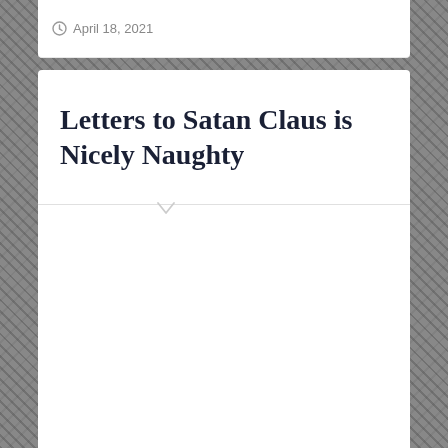April 18, 2021
Letters to Satan Claus is Nicely Naughty